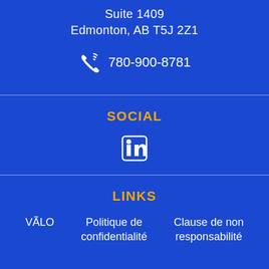Suite 1409
Edmonton, AB T5J 2Z1
780-900-8781
SOCIAL
[Figure (logo): LinkedIn logo icon (in)]
LINKS
VÃLO
Politique de confidentialité
Clause de non responsabilité